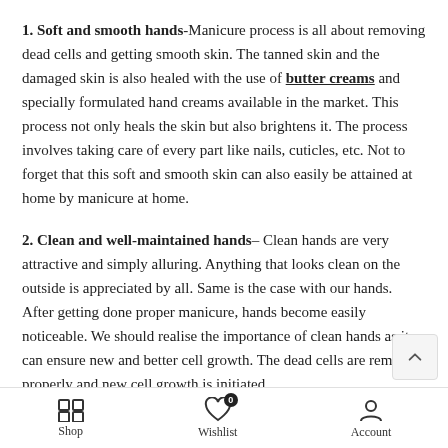1. Soft and smooth hands- Manicure process is all about removing dead cells and getting smooth skin. The tanned skin and the damaged skin is also healed with the use of butter creams and specially formulated hand creams available in the market. This process not only heals the skin but also brightens it. The process involves taking care of every part like nails, cuticles, etc. Not to forget that this soft and smooth skin can also easily be attained at home by manicure at home.
2. Clean and well-maintained hands– Clean hands are very attractive and simply alluring. Anything that looks clean on the outside is appreciated by all. Same is the case with our hands. After getting done proper manicure, hands become easily noticeable. We should realise the importance of clean hands as it can ensure new and better cell growth. The dead cells are removed properly and new cell growth is initiated.
Shop | Wishlist 0 | Account